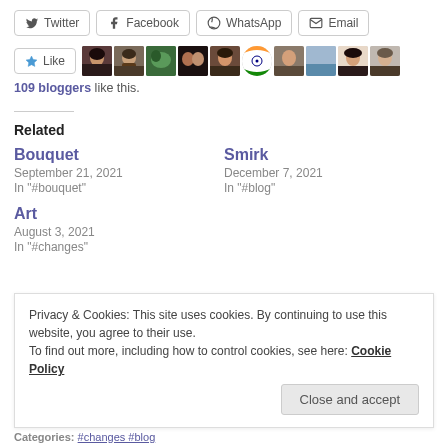Twitter
Facebook
WhatsApp
Email
[Figure (illustration): Like button with star icon, followed by a row of 10 blogger avatar thumbnail images]
109 bloggers like this.
Related
Bouquet
September 21, 2021
In "#bouquet"
Smirk
December 7, 2021
In "#blog"
Art
August 3, 2021
In "#changes"
Privacy & Cookies: This site uses cookies. By continuing to use this website, you agree to their use.
To find out more, including how to control cookies, see here: Cookie Policy
Close and accept
Categories: #changes #blog